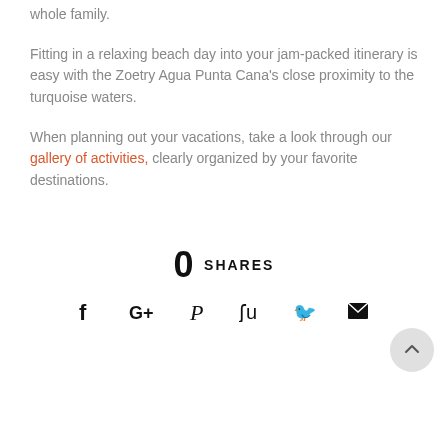whole family.
Fitting in a relaxing beach day into your jam-packed itinerary is easy with the Zoetry Agua Punta Cana's close proximity to the turquoise waters.
When planning out your vacations, take a look through our gallery of activities, clearly organized by your favorite destinations.
0 SHARES
[Figure (infographic): Social sharing icons row: Facebook, Google+, Pinterest, StumbleUpon, Twitter, Email]